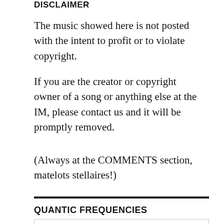DISCLAIMER
The music showed here is not posted with the intent to profit or to violate copyright.
If you are the creator or copyright owner of a song or anything else at the IM, please contact us and it will be promptly removed.
(Always at the COMMENTS section, matelots stellaires!)
QUANTIC FREQUENCIES